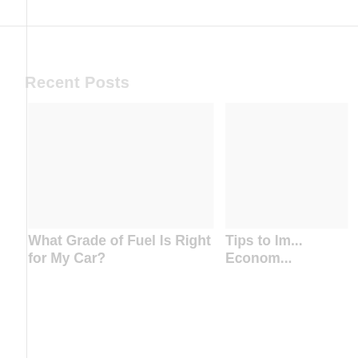Recent Posts
What Grade of Fuel Is Right for My Car?
Tips to Im... Econom...